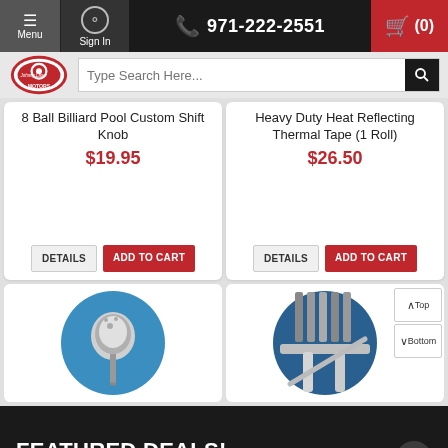Menu | Sign In | 971-222-2551 | Cart (0)
[Figure (screenshot): Search bar with Johnny Law Motors logo and search input]
8 Ball Billiard Pool Custom Shift Knob
$19.95
Heavy Duty Heat Reflecting Thermal Tape (1 Roll)
$26.50
[Figure (photo): Chrome shift knob on blue background]
[Figure (photo): Chrome exhaust or pipe product on blue background]
FEATURED DEALS!
Click to see today's best deals